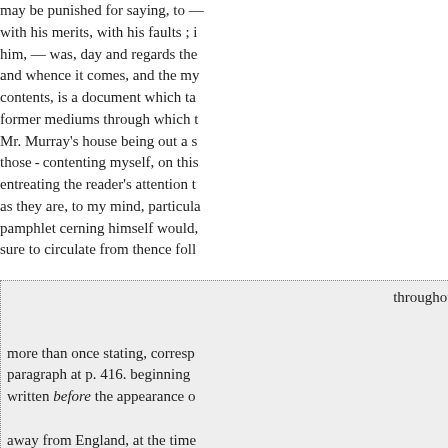may be punished for saying, to — with his merits, with his faults ; him, — was, day and regards the and whence it comes, and the my contents, is a document which ta former mediums through which t Mr. Murray's house being out a s those - contenting myself, on thi entreating the reader's attention t as they are, to my mind, particula pamphlet cerning himself would, sure to circulate from thence foll
throughout
more than once stating, corresp paragraph at p. 416. beginning written before the appearance o away from England, at the time paper.
resting letters with which, during addressing to me soon period, he Lord rich this volume.